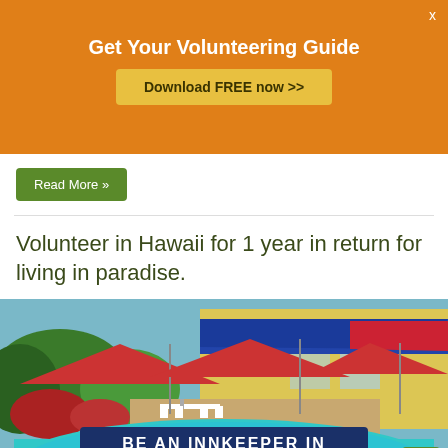Get Your Volunteering Guide
Download FREE now >>
Read More »
Volunteer in Hawaii for 1 year in return for living in paradise.
[Figure (photo): Outdoor resort pool area with red umbrellas, white patio furniture, yellow building, blue awnings, and text overlay reading 'BE AN INNKEEPER IN Hawaii']